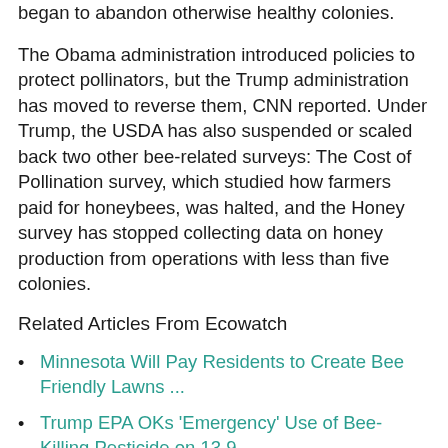began to abandon otherwise healthy colonies.
The Obama administration introduced policies to protect pollinators, but the Trump administration has moved to reverse them, CNN reported. Under Trump, the USDA has also suspended or scaled back two other bee-related surveys: The Cost of Pollination survey, which studied how farmers paid for honeybees, was halted, and the Honey survey has stopped collecting data on honey production from operations with less than five colonies.
Related Articles From Ecowatch
Minnesota Will Pay Residents to Create Bee Friendly Lawns ...
Trump EPA OKs 'Emergency' Use of Bee-Killing Pesticide on 13.9 ...